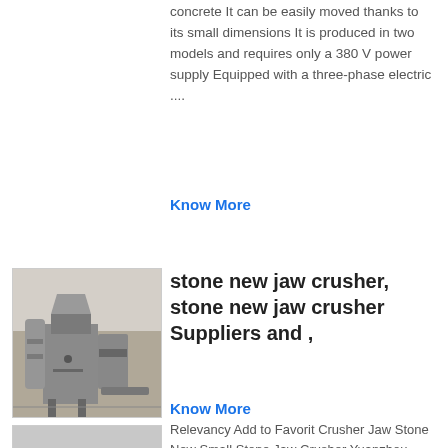concrete It can be easily moved thanks to its small dimensions It is produced in two models and requires only a 380 V power supply Equipped with a three-phase electric ....
Know More
[Figure (photo): Industrial jaw crusher machine in a facility setting]
stone new jaw crusher, stone new jaw crusher Suppliers and ,
Relevancy Add to Favorit Crusher Jaw Stone New Small Stone Jaw Crusher Yuanzhou Industrial Small Mini Laboratory Crusher Jaw Crusher Pe 150x250 250*400 Jaw Stone Crusher Up to 5 years warranty US $4450-$4500/ Set 1 Set (Min Order) 2 YRS Jiangyin Yuanzhou Mining Engineering Machinery Co, Ltd...
Know More